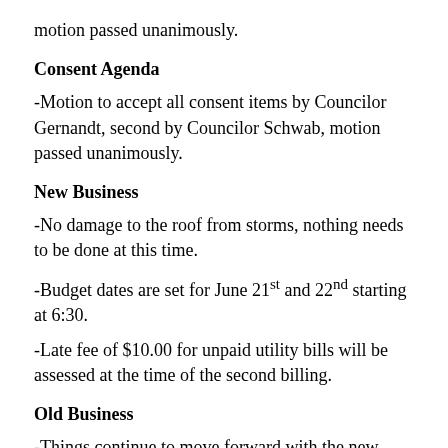motion passed unanimously.
Consent Agenda
-Motion to accept all consent items by Councilor Gernandt, second by Councilor Schwab, motion passed unanimously.
New Business
-No damage to the roof from storms, nothing needs to be done at this time.
-Budget dates are set for June 21st and 22nd starting at 6:30.
-Late fee of $10.00 for unpaid utility bills will be assessed at the time of the second billing.
Old Business
-Things continue to move forward with the new signage on